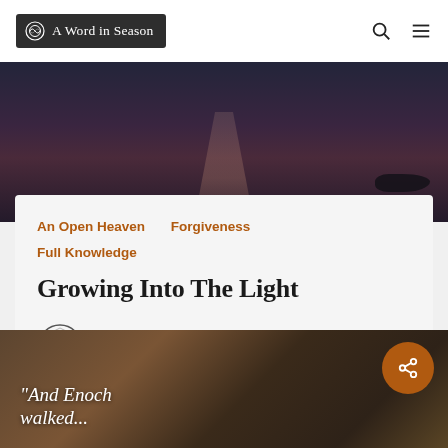A Word in Season
[Figure (photo): Dark moody photo of a wooden dock extending into still water at dusk/dawn, with a boat silhouette on the right and a pink/purple glow in the center]
An Open Heaven
Forgiveness
Full Knowledge
Growing Into The Light
Brian Troxel
August 6, 2022
[Figure (photo): Sepia-toned photo of worn boots/shoes with laces, overlaid with italic white quote text: "And Enoch walked..."]